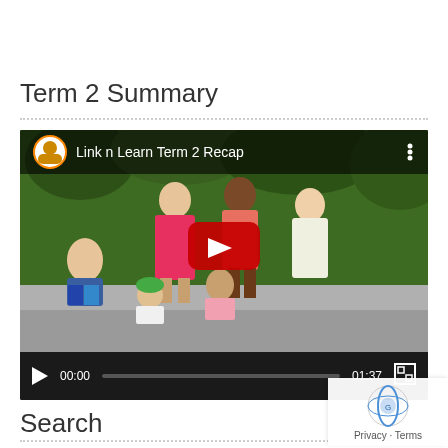Term 2 Summary
[Figure (screenshot): YouTube video embed titled 'Link n Learn Term 2 Recap' showing children standing outdoors in front of green foliage. Video controls show 00:00 / 01:37. Large red play button in center.]
Search